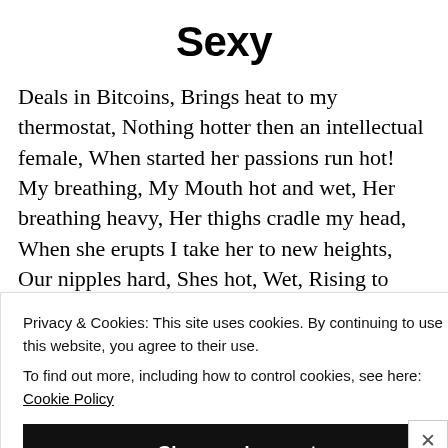Sexy
Deals in Bitcoins, Brings heat to my thermostat, Nothing hotter then an intellectual female, When started her passions run hot! My breathing, My Mouth hot and wet, Her breathing heavy, Her thighs cradle my head, When she erupts I take her to new heights, Our nipples hard, Shes hot, Wet, Rising to
Privacy & Cookies: This site uses cookies. By continuing to use this website, you agree to their use.
To find out more, including how to control cookies, see here: Cookie Policy
Close and accept